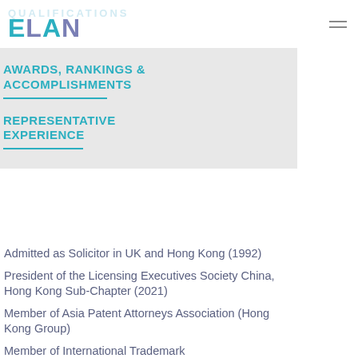ELAW
AWARDS, RANKINGS & ACCOMPLISHMENTS
REPRESENTATIVE EXPERIENCE
Admitted as Solicitor in UK and Hong Kong (1992)
President of the Licensing Executives Society China, Hong Kong Sub-Chapter (2021)
Member of Asia Patent Attorneys Association (Hong Kong Group)
Member of International Trademark